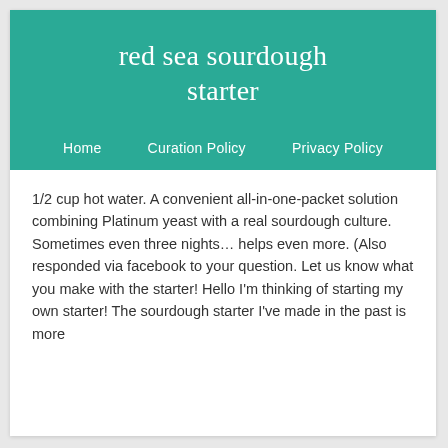red sea sourdough starter
Home   Curation Policy   Privacy Policy
1/2 cup hot water. A convenient all-in-one-packet solution combining Platinum yeast with a real sourdough culture. Sometimes even three nights… helps even more. (Also responded via facebook to your question. Let us know what you make with the starter! Hello I'm thinking of starting my own starter! The sourdough starter I've made in the past is more